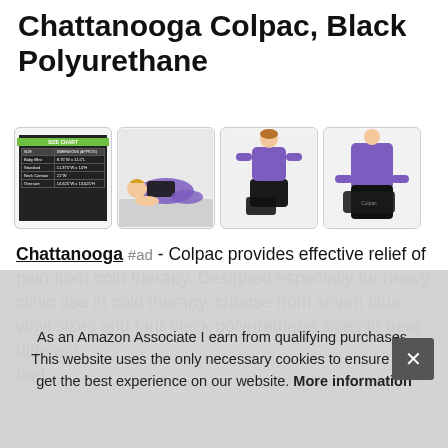Chattanooga Colpac, Black Polyurethane
#ad
[Figure (photo): Four product images in a row: a size chart table, a person lying down using the cold pack on their back, a person standing with the cold pack on their knee, and a person holding the cold pack.]
Chattanooga #ad - Colpac provides effective relief of pain from cold therapy. Designed especially for heavy clinic use in cold therapy, choose from seven blue vinyl sizes and four black poly... bod...
As an Amazon Associate I earn from qualifying purchases. This website uses the only necessary cookies to ensure you get the best experience on our website. More information